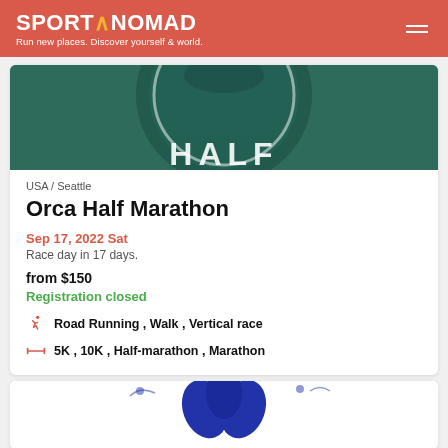SPORT∧NOMAD — Run new places. Discover yourself & world.
[Figure (logo): Orca Half Marathon circular logo with green background and 'HALF' text visible at bottom]
USA / Seattle
Orca Half Marathon
Sep 17, 2022 Sat
Race day in 17 days.
from $150
Registration closed
Road Running , Walk , Vertical race
5K , 10K , Half-marathon , Marathon
[Figure (logo): Partial view of a second event logo with blue leaf/flower design on white background]